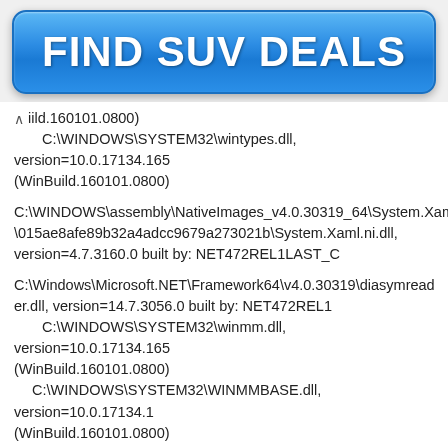[Figure (other): Blue 'FIND SUV DEALS' button banner advertisement]
iild.160101.0800)
    C:\WINDOWS\SYSTEM32\wintypes.dll, version=10.0.17134.165 (WinBuild.160101.0800)
C:\WINDOWS\assembly\NativeImages_v4.0.30319_64\System.Xaml\015ae8afe89b32a4adcc9679a273021b\System.Xaml.ni.dll, version=4.7.3160.0 built by: NET472REL1LAST_C
C:\Windows\Microsoft.NET\Framework64\v4.0.30319\diasymreader.dll, version=14.7.3056.0 built by: NET472REL1
    C:\WINDOWS\SYSTEM32\winmm.dll, version=10.0.17134.165 (WinBuild.160101.0800)
    C:\WINDOWS\SYSTEM32\WINMMBASE.dll, version=10.0.17134.1 (WinBuild.160101.0800)
C:\WINDOWS\System32\DriverStore\FileRepository\ki123703.inf_amd64_0a23361c76dba22e\igd10iumd64.dll, version=22.20.16.4749